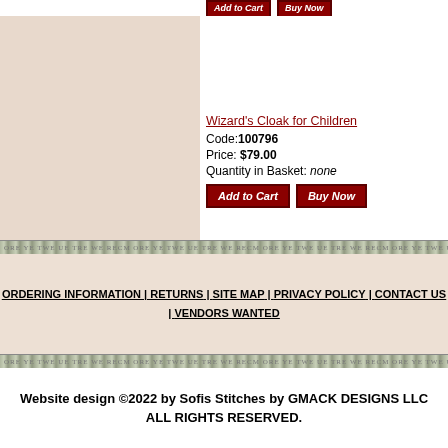Wizard's Cloak for Children
Code: 100796
Price: $79.00
Quantity in Basket: none
ORDERING INFORMATION | RETURNS | SITE MAP | PRIVACY POLICY | CONTACT US | VENDORS WANTED
Website design ©2022 by Sofis Stitches by GMACK DESIGNS LLC
ALL RIGHTS RESERVED.